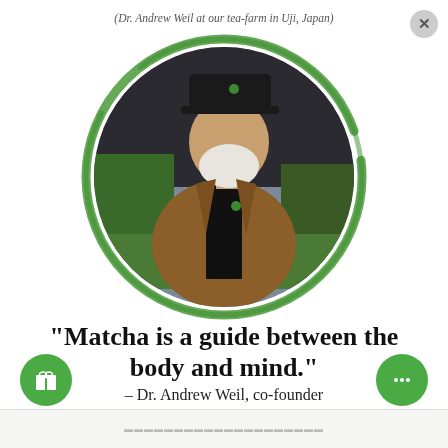(Dr. Andrew Weil at our tea-farm in Uji, Japan)
[Figure (photo): Dr. Andrew Weil standing at a tea farm in Uji, Japan, wearing a brown jacket, black turtleneck, and dark cap, with green tea plants and dark netting visible in the background. The photo is presented in a circular frame with a green brushstroke border.]
"Matcha is a guide between the body and mind." – Dr. Andrew Weil, co-founder